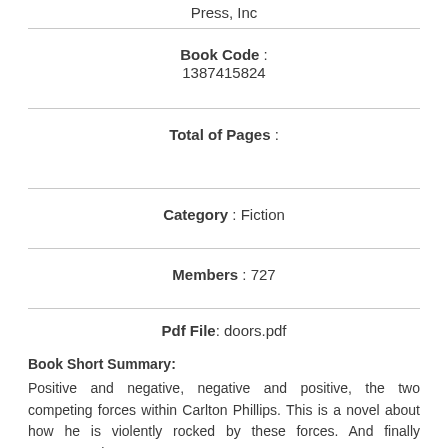Press, Inc
Book Code : 1387415824
Total of Pages :
Category : Fiction
Members : 727
Pdf File: doors.pdf
Book Short Summary:
Positive and negative, negative and positive, the two competing forces within Carlton Phillips. This is a novel about how he is violently rocked by these forces. And finally surmounts them.